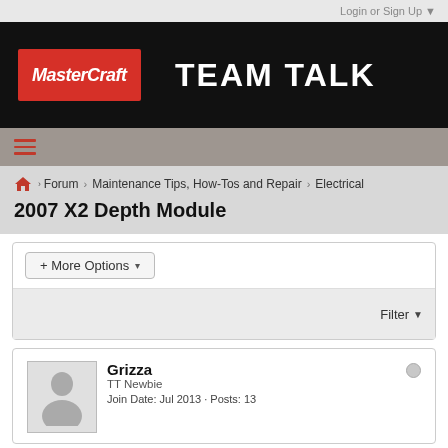Login or Sign Up ▼
[Figure (logo): MasterCraft Team Talk forum header banner with MasterCraft logo on red background and TEAM TALK text in white on black background]
≡ (hamburger navigation menu)
Forum > Maintenance Tips, How-Tos and Repair > Electrical
2007 X2 Depth Module
+ More Options ▾
Filter ▼
Grizza
TT Newbie
Join Date: Jul 2013 · Posts: 13